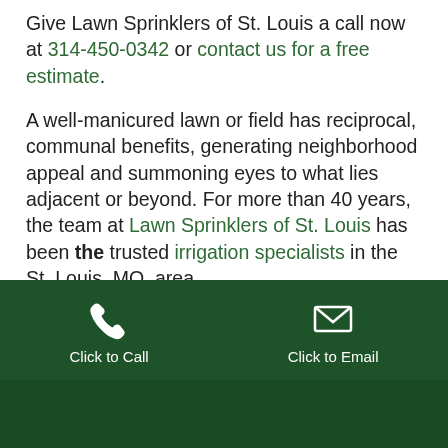Give Lawn Sprinklers of St. Louis a call now at 314-450-0342 or contact us for a free estimate.
A well-manicured lawn or field has reciprocal, communal benefits, generating neighborhood appeal and summoning eyes to what lies adjacent or beyond. For more than 40 years, the team at Lawn Sprinklers of St. Louis has been the trusted irrigation specialists in the St. Louis, MO, area.
AN IRRIGATION SPECIALIST EXACTLY WHERE IT SHOULD BE: IN
[Figure (infographic): Dark green CTA bar with phone icon labeled 'Click to Call' on the left and envelope icon labeled 'Click to Email' on the right, on a dark green background.]